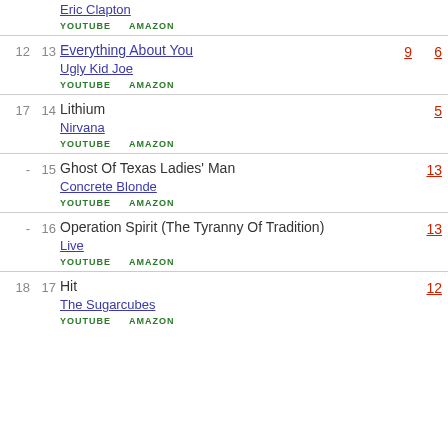Eric Clapton - YOUTUBE AMAZON
12 13 Everything About You - Ugly Kid Joe - YOUTUBE AMAZON - 9 6
17 14 Lithium - Nirvana - YOUTUBE AMAZON - 5
- 15 Ghost Of Texas Ladies' Man - Concrete Blonde - YOUTUBE AMAZON - 13
- 16 Operation Spirit (The Tyranny Of Tradition) - Live - YOUTUBE AMAZON - 13
18 17 Hit - The Sugarcubes - YOUTUBE AMAZON - 12